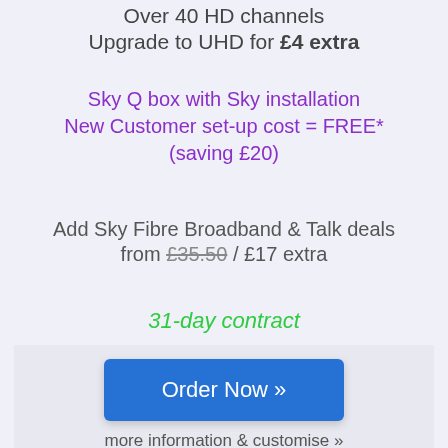Over 40 HD channels
Upgrade to UHD for £4 extra
Sky Q box with Sky installation
New Customer set-up cost = FREE*
(saving £20)
Add Sky Fibre Broadband & Talk deals from £35.50 / £17 extra
31-day contract
Order Now »
more information & customise »